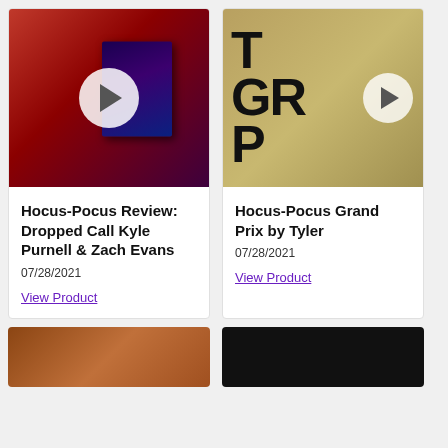[Figure (screenshot): Video thumbnail showing a dark red/purple background with a book cover (Dropped Call) and a play button overlay]
Hocus-Pocus Review: Dropped Call Kyle Purnell & Zach Evans
07/28/2021
View Product
[Figure (screenshot): Video thumbnail showing currency/dollar bills background with large bold text reading THE GRAND PRIX and a play button overlay]
Hocus-Pocus Grand Prix by Tyler
07/28/2021
View Product
[Figure (photo): Partial bottom-left image with warm brown/orange tones]
[Figure (photo): Partial bottom-right image with dark/black background]